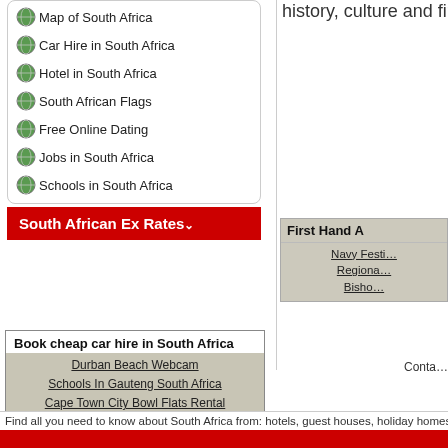history, culture and first hand
Map of South Africa
Car Hire in South Africa
Hotel in South Africa
South African Flags
Free Online Dating
Jobs in South Africa
Schools in South Africa
South African Ex Rates ↓
First Hand A
Navy Festi…
Regiona…
Bisho…
Book cheap car hire in South Africa
Durban Beach Webcam
Schools In Gauteng South Africa
Cape Town City Bowl Flats Rental
Conta…
Find all you need to know about South Africa from: hotels, guest houses, holiday homes, bed and b…